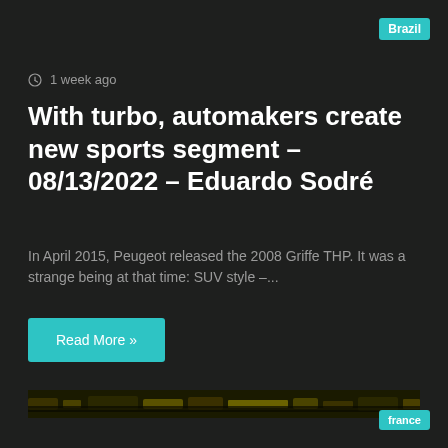Brazil
⊙ 1 week ago
With turbo, automakers create new sports segment – 08/13/2022 – Eduardo Sodré
In April 2015, Peugeot released the 2008 Griffe THP. It was a strange being at that time: SUV style –...
Read More »
[Figure (photo): Dark nighttime photo of a car, barely visible against dark background]
france